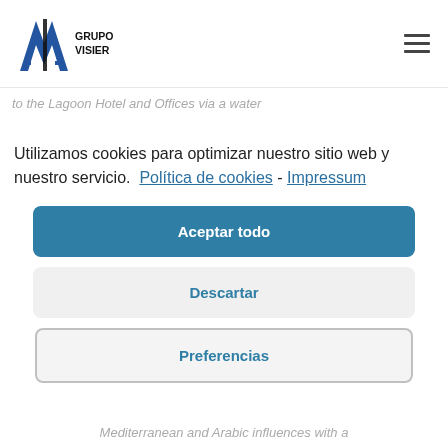[Figure (logo): Grupo Visier logo with stylized 'AI' letters and text 'GRUPO VISIER' to the right]
to the Lagoon Hotel and Offices via a water
Utilizamos cookies para optimizar nuestro sitio web y nuestro servicio.  Política de cookies  -  Impressum
Aceptar todo
Descartar
Preferencias
Mediterranean and Arabic influences with a